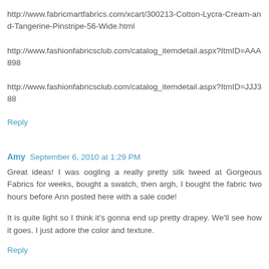http://www.fabricmartfabrics.com/xcart/300213-Cotton-Lycra-Cream-and-Tangerine-Pinstripe-56-Wide.html
http://www.fashionfabricsclub.com/catalog_itemdetail.aspx?ItmID=AAA898
http://www.fashionfabricsclub.com/catalog_itemdetail.aspx?ItmID=JJJ388
Reply
Amy  September 6, 2010 at 1:29 PM
Great ideas! I was oogling a really pretty silk tweed at Gorgeous Fabrics for weeks, bought a swatch, then argh, I bought the fabric two hours before Ann posted here with a sale code!
It is quite light so I think it's gonna end up pretty drapey. We'll see how it goes. I just adore the color and texture.
Reply